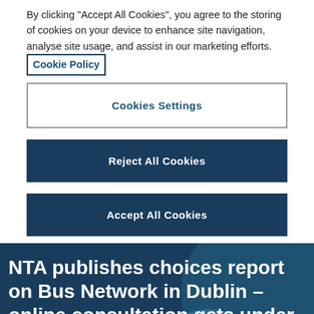By clicking "Accept All Cookies", you agree to the storing of cookies on your device to enhance site navigation, analyse site usage, and assist in our marketing efforts. Cookie Policy
Cookies Settings
Reject All Cookies
Accept All Cookies
NTA publishes choices report on Bus Network in Dublin – online consultation gets under way today
October 2017